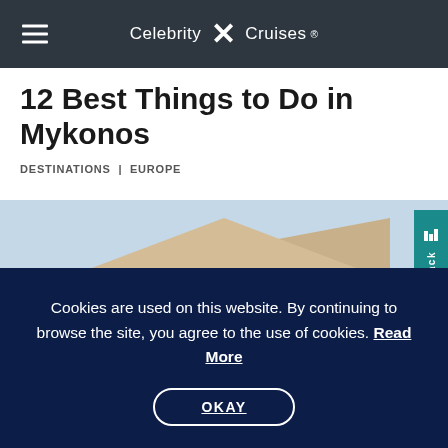Celebrity X Cruises®
12 Best Things to Do in Mykonos
DESTINATIONS | EUROPE
[Figure (photo): Photo of the Pantheon facade in Rome showing the triangular pediment with the inscription MAGRIPPALCOSTERTIVMFECIT]
Cookies are used on this website. By continuing to browse the site, you agree to the use of cookies. Read More
OKAY